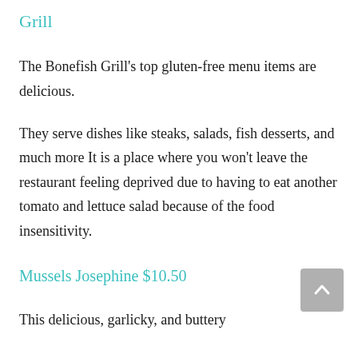Grill
The Bonefish Grill's top gluten-free menu items are delicious.
They serve dishes like steaks, salads, fish desserts, and much more It is a place where you won't leave the restaurant feeling deprived due to having to eat another tomato and lettuce salad because of the food insensitivity.
Mussels Josephine $10.50
This delicious, garlicky, and buttery